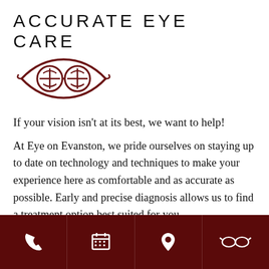ACCURATE EYE CARE
[Figure (logo): Eye care logo: stylized eye shape with two circular lens symbols inside, in dark maroon/brown color]
If your vision isn't at its best, we want to help!
At Eye on Evanston, we pride ourselves on staying up to date on technology and techniques to make your experience here as comfortable and as accurate as possible. Early and precise diagnosis allows us to find a treatment option best suited for you.
[Figure (infographic): Dark maroon footer bar with four white icons: phone, calendar/schedule, location pin, and glasses/eyewear]